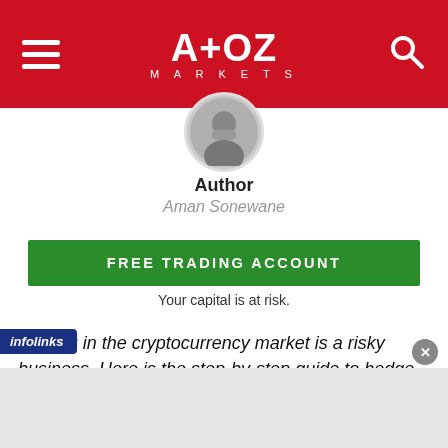A+OZ MARKETS
[Figure (photo): Circular profile photo of author Aman Sonewane]
Author
Aman Sonewane
FREE TRADING ACCOUNT
Your capital is at risk.
Trading in the cryptocurrency market is a risky business. Here is the step-by-step guide to hedge cryptocurrency to protect yourself against that risk.